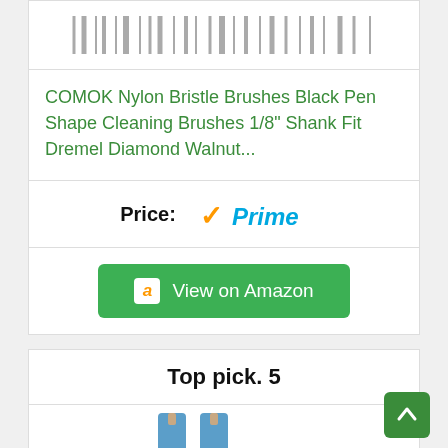[Figure (other): Barcode / vertical lines image (partial, cropped at top)]
COMOK Nylon Bristle Brushes Black Pen Shape Cleaning Brushes 1/8" Shank Fit Dremel Diamond Walnut...
Price:
[Figure (logo): Amazon Prime logo with orange checkmark and blue italic Prime text]
[Figure (other): Green button with Amazon 'a' icon and text 'View on Amazon']
Top pick. 5
[Figure (photo): Two blue pen-shaped cleaning brushes with small tips, product image]